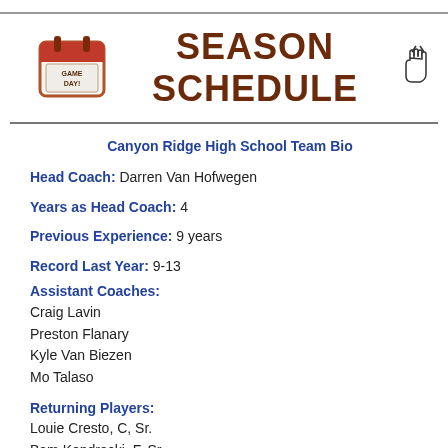SEASON SCHEDULE
Canyon Ridge High School Team Bio
Head Coach: Darren Van Hofwegen
Years as Head Coach: 4
Previous Experience: 9 years
Record Last Year: 9-13
Assistant Coaches:
Craig Lavin
Preston Flanary
Kyle Van Biezen
Mo Talaso
Returning Players:
Louie Cresto, C, Sr.
Bam Kondracki, F, Sr.